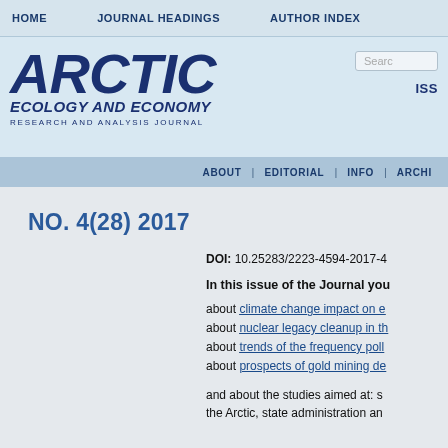HOME   JOURNAL HEADINGS   AUTHOR INDEX
[Figure (logo): ARCTIC Ecology and Economy Research and Analysis Journal logo in dark blue italic bold font]
ISS
ABOUT | EDITORIAL | INFO | ARCHI
NO. 4(28) 2017
DOI: 10.25283/2223-4594-2017-4
In this issue of the Journal you
about climate change impact on e
about nuclear legacy cleanup in th
about trends of the frequency poll
about prospects of gold mining de
and about the studies aimed at: s the Arctic, state administration an